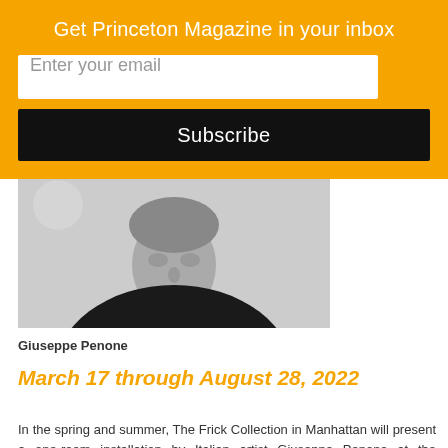Get Princeton Magazine in your inbox
Enter your email
Subscribe
[Figure (photo): Black and white photograph of Giuseppe Penone, an older man wearing a dark jacket, shown from approximately chest up, with blurred background]
Giuseppe Penone
March 17 through August 28, 2022
In the spring and summer, The Frick Collection in Manhattan will present a one-room installation by Italian artist Giuseppe Penone at the museum's temporary home, Frick Madison. Displayed in the broader context of the museum's decorative arts and Old Master paintings and sculpture, this